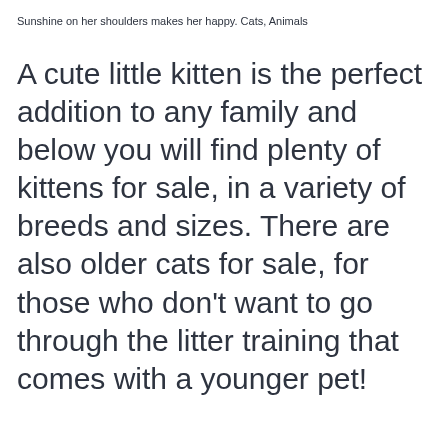Sunshine on her shoulders makes her happy. Cats, Animals
A cute little kitten is the perfect addition to any family and below you will find plenty of kittens for sale, in a variety of breeds and sizes. There are also older cats for sale, for those who don't want to go through the litter training that comes with a younger pet!